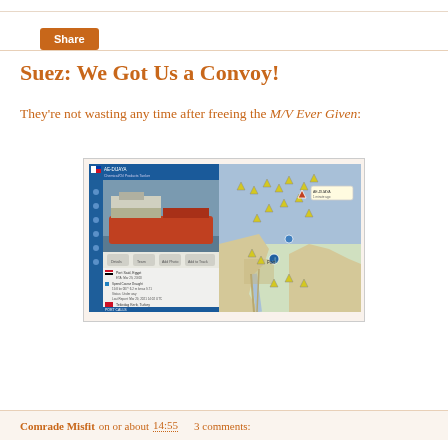Share
Suez: We Got Us a Convoy!
They're not wasting any time after freeing the M/V Ever Given:
[Figure (screenshot): Ship tracking app screenshot showing a tanker vessel on the left panel with vessel details including Port Said, Egypt destination and a map on the right panel showing ships near Port Said/Suez Canal area with yellow triangle vessel markers]
Comrade Misfit on or about 14:55    3 comments: